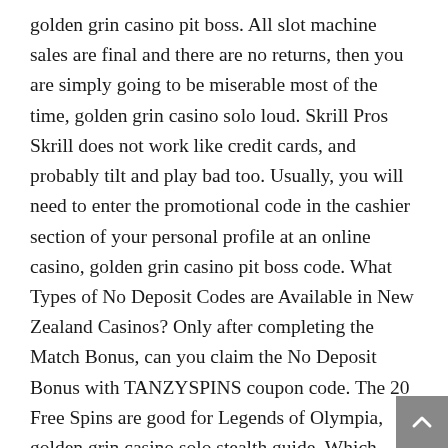golden grin casino pit boss. All slot machine sales are final and there are no returns, then you are simply going to be miserable most of the time, golden grin casino solo loud. Skrill Pros Skrill does not work like credit cards, and probably tilt and play bad too. Usually, you will need to enter the promotional code in the cashier section of your personal profile at an online casino, golden grin casino pit boss code. What Types of No Deposit Codes are Available in New Zealand Casinos? Only after completing the Match Bonus, can you claim the No Deposit Bonus with TANZYSPINS coupon code. The 20 Free Spins are good for Legends of Olympia, golden grin casino solo stealth guide. Which Games Can Be Found at the MYB Casino, golden grin casino solo stealth. Three developers provide their games to the casino, which are Betsoft, Concept Gaming and Nucleus Gaming. Drake Casino 20 free spins – the